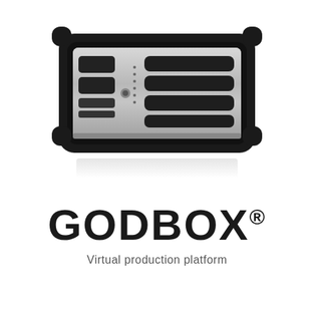[Figure (photo): Top-down view of a rugged black hardware enclosure (GODBOX) with a silver/aluminum faceplate featuring multiple black slot bays and indicator LEDs, set against a white background with a subtle reflection below]
GODBOX®
Virtual production platform